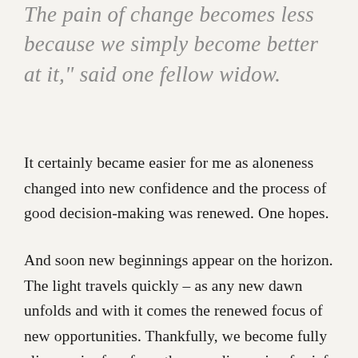The pain of change becomes less because we simply become better at it," said one fellow widow.
It certainly became easier for me as aloneness changed into new confidence and the process of good decision-making was renewed. One hopes.
And soon new beginnings appear on the horizon. The light travels quickly – as any new dawn unfolds and with it comes the renewed focus of new opportunities. Thankfully, we become fully alive again; free from the unending pain of grief to explore life with all its possibilities. With these changes comes new challenges and the desire to